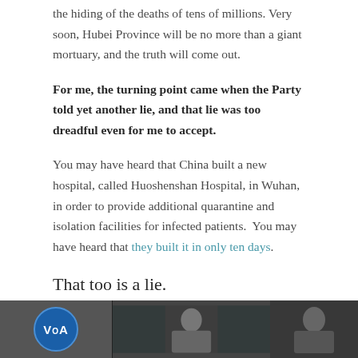the hiding of the deaths of tens of millions. Very soon, Hubei Province will be no more than a giant mortuary, and the truth will come out.
For me, the turning point came when the Party told yet another lie, and that lie was too dreadful even for me to accept.
You may have heard that China built a new hospital, called Huoshenshan Hospital, in Wuhan, in order to provide additional quarantine and isolation facilities for infected patients. You may have heard that they built it in only ten days.
That too is a lie.
[Figure (screenshot): Bottom strip showing what appears to be a VOA (Voice of America) video thumbnail with a blue circle logo on the left, a person in the center frame, and additional content on the right, all on a dark background.]